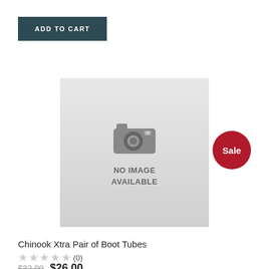ADD TO CART
[Figure (other): Sale badge - red circle with white text 'Sale']
[Figure (other): Product placeholder image with camera icon and text 'NO IMAGE AVAILABLE']
Chinook Xtra Pair of Boot Tubes
★★★★★ (0)
$32.00  $26.00
ADD TO CART